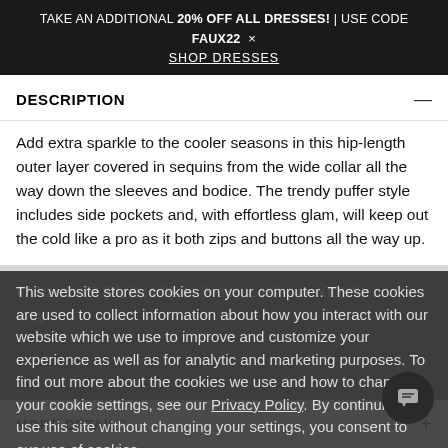TAKE AN ADDITIONAL 20% OFF ALL DRESSES! | USE CODE FAUX22 × SHOP DRESSES
DESCRIPTION
Add extra sparkle to the cooler seasons in this hip-length outer layer covered in sequins from the wide collar all the way down the sleeves and bodice. The trendy puffer style includes side pockets and, with effortless glam, will keep out the cold like a pro as it both zips and buttons all the way up.
Sizes: XS (2), S (4-6), M (8-10), L (12-14), XL (16)
S
Non-stre
Nylon with poly lining. Imported
This website stores cookies on your computer. These cookies are used to collect information about how you interact with our website which we use to improve and customize your experience as well as for analytic and marketing purposes. To find out more about the cookies we use and how to change your cookie settings, see our Privacy Policy. By continuing to use this site without changing your settings, you consent to our use of cookies.
MORE DETAILS